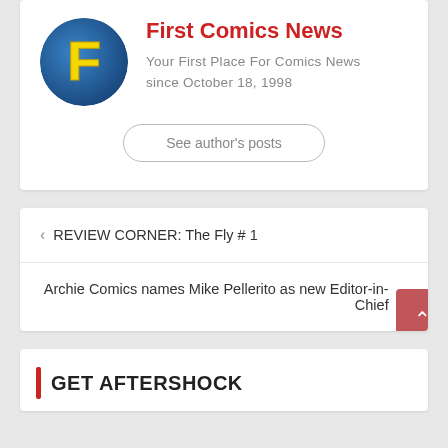[Figure (logo): First Comics News circular logo with yellow F on blue background]
First Comics News
Your First Place For Comics News since October 18, 1998
See author's posts
< REVIEW CORNER: The Fly # 1
Archie Comics names Mike Pellerito as new Editor-in-Chief >
GET AFTERSHOCK